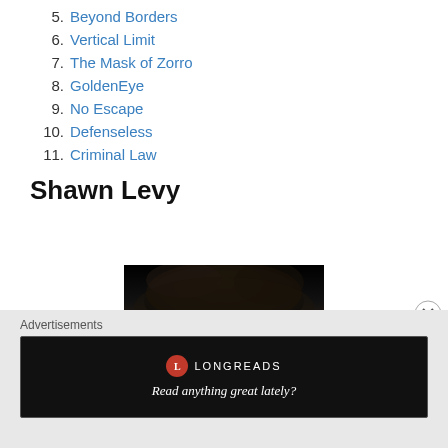5. Beyond Borders
6. Vertical Limit
7. The Mask of Zorro
8. GoldenEye
9. No Escape
10. Defenseless
11. Criminal Law
Shawn Levy
[Figure (photo): Partial photo of a person with dark hair, mostly showing the top of the head against a black background]
Advertisements
[Figure (logo): Longreads advertisement banner with red circle logo and tagline 'Read anything great lately?' on black background]